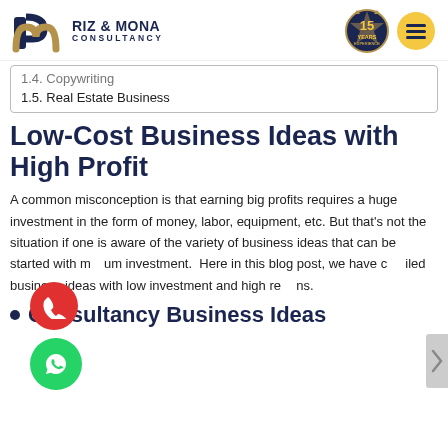RIZ & MONA CONSULTANCY
1.4. Copywriting
1.5. Real Estate Business
Low-Cost Business Ideas with High Profit
A common misconception is that earning big profits requires a huge investment in the form of money, labor, equipment, etc. But that's not the situation if one is aware of the variety of business ideas that can be started with minimum investment. Here in this blog post, we have compiled business ideas with low investment and high returns.
Consultancy Business Ideas